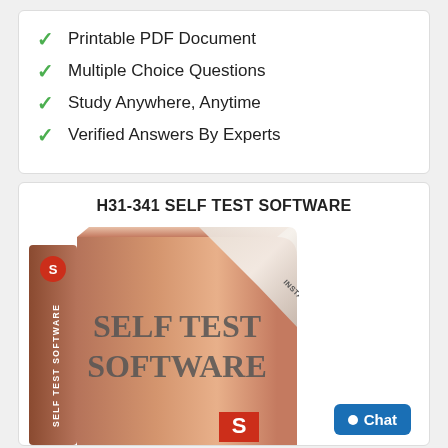Printable PDF Document
Multiple Choice Questions
Study Anywhere, Anytime
Verified Answers By Experts
H31-341 SELF TEST SOFTWARE
[Figure (photo): Self Test Software product box with copper/bronze color, showing 'Self Test Software' text and logo, with 'Instant Download' ribbon on top right corner]